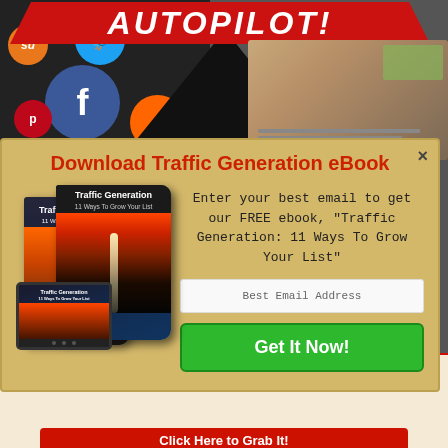[Figure (screenshot): Top banner with AUTOPILOT! text in red, social media icons (Twitter, Facebook, StumbleUpon, Pinterest, Friendfeed) on left, and a hand on laptop keyboard with money on right, dark triangle shape in center]
Download Traffic Generation eBook
Enter your best email to get our FREE ebook, “Traffic Generation: 11 Ways To Grow Your List”
[Figure (illustration): Traffic Generation ebook shown as book cover and tablet device. Book cover shows highway at night with lights. Title reads 'Traffic Generation' and subtitle '11 Ways To Grow Your List']
Best Email Address
Get It Now!
That Designs Money Making Business Funnels In Under 3 Minutes!
Click Here to Grab It!